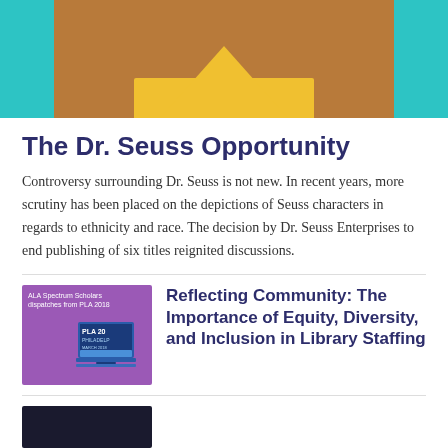[Figure (photo): Top photo showing a person holding an open yellow/gold book at a table, with teal background]
The Dr. Seuss Opportunity
Controversy surrounding Dr. Seuss is not new. In recent years, more scrutiny has been placed on the depictions of Seuss characters in regards to ethnicity and race. The decision by Dr. Seuss Enterprises to end publishing of six titles reignited discussions.
[Figure (photo): Thumbnail image with purple background showing a laptop with PLA 2018 Philadelphia conference branding and text 'ALA Spectrum Scholars dispatches from PLA 2018']
Reflecting Community: The Importance of Equity, Diversity, and Inclusion in Library Staffing
[Figure (photo): Partially visible dark thumbnail image at bottom left]